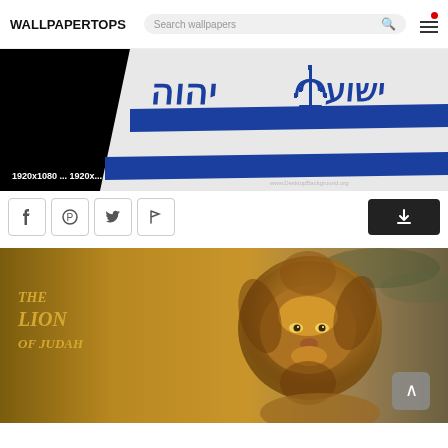WALLPAPERTOPS — Search wallpapers
[Figure (photo): Partial view of a white and blue flag/banner with Hebrew text and menorah symbol, on black background. Label reads '1920x1080 ... 1920x...' with watermark 'www.DesktopBackground.org']
[Figure (photo): A lion facing right with golden mane on a sandy/blurred outdoor background, with text overlay 'THE LION OF JUDAH' in gold italic serif font. A back-to-top arrow button is visible in the lower right.]